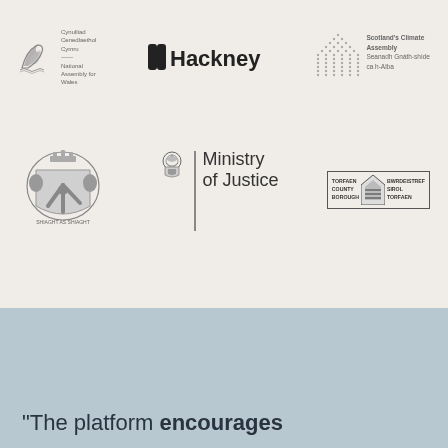[Figure (logo): National Assembly for Wales (Cynulliad Cenedlaethol Cymru) logo with bird icon]
[Figure (logo): London Borough of Hackney logo with H symbol]
[Figure (logo): Scotland's Climate Assembly logo with dot-pattern triangle]
[Figure (logo): Isle of Man Government coat of arms]
[Figure (logo): UK Ministry of Justice logo with royal crest]
[Figure (logo): Torfaen County Borough / Bwrdeistref Sirol Torfaen logo]
“The platform encourages